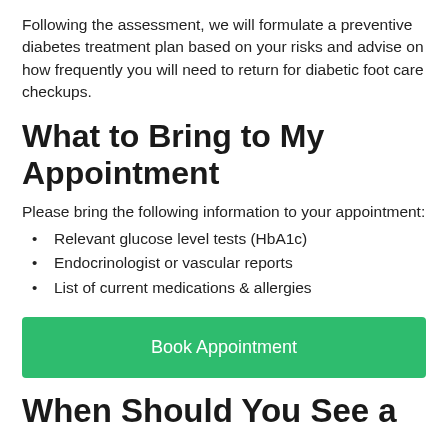Following the assessment, we will formulate a preventive diabetes treatment plan based on your risks and advise on how frequently you will need to return for diabetic foot care checkups.
What to Bring to My Appointment
Please bring the following information to your appointment:
Relevant glucose level tests (HbA1c)
Endocrinologist or vascular reports
List of current medications & allergies
Book Appointment
When Should You See a